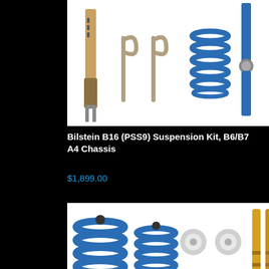[Figure (photo): Bilstein B16 PSS9 suspension kit components laid out on white background: shock absorber, spanner wrenches, coil spring, and adjustment knob]
Bilstein B16 (PSS9) Suspension Kit, B6/B7 A4 Chassis
$1,899.00
[Figure (photo): Suspension kit components including blue coil springs, chrome top mounts, rubber bushings, yellow shock absorbers laid out on white background]